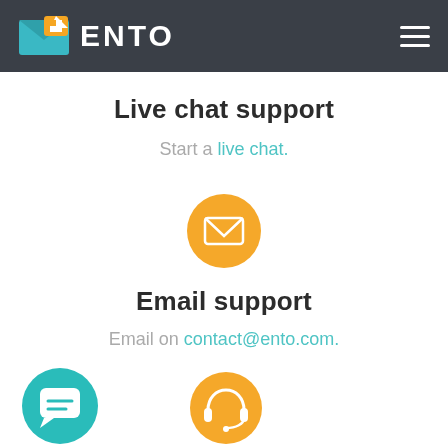ENTO
Live chat support
Start a live chat.
[Figure (illustration): Orange circle with white envelope/email icon]
Email support
Email on contact@ento.com.
[Figure (illustration): Teal circle with white chat bubble icon (bottom left)]
[Figure (illustration): Orange/yellow circle with white headset icon (bottom center)]